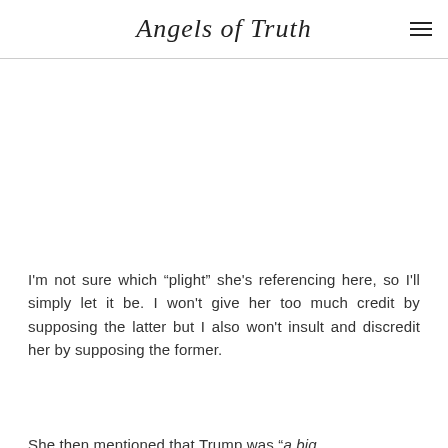Angels of Truth
I'm not sure which “plight” she's referencing here, so I'll simply let it be. I won't give her too much credit by supposing the latter but I also won't insult and discredit her by supposing the former.
She then mentioned that Trump was “a big